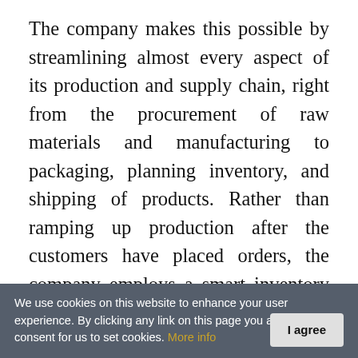The company makes this possible by streamlining almost every aspect of its production and supply chain, right from the procurement of raw materials and manufacturing to packaging, planning inventory, and shipping of products. Rather than ramping up production after the customers have placed orders, the company employs a smart inventory system with an algorithm that predicts the inconsistent demand spikes based on historical information of past orders. This allows Palm Labs Adhesives to stock up its products and have them ready to ship by the time clients
We use cookies on this website to enhance your user experience. By clicking any link on this page you are giving your consent for us to set cookies. More info